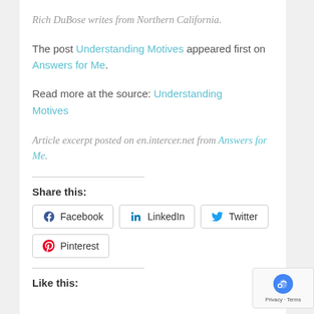Rich DuBose writes from Northern California.
The post Understanding Motives appeared first on Answers for Me.
Read more at the source: Understanding Motives
Article excerpt posted on en.intercer.net from Answers for Me.
Share this:
Facebook LinkedIn Twitter Pinterest
Like this: